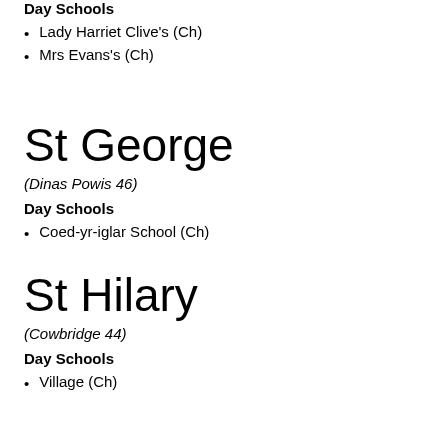Day Schools
Lady Harriet Clive's (Ch)
Mrs Evans's (Ch)
St George
(Dinas Powis 46)
Day Schools
Coed-yr-iglar School (Ch)
St Hilary
(Cowbridge 44)
Day Schools
Village (Ch)